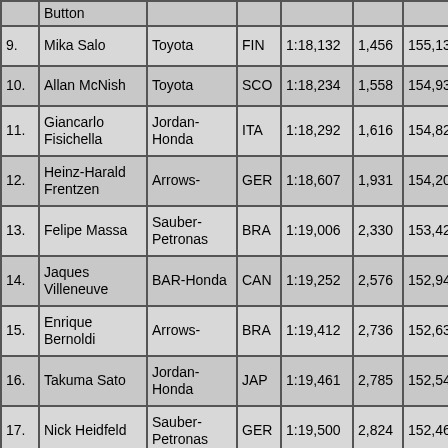| # | Driver | Team | Nat | Time | Gap | Speed |
| --- | --- | --- | --- | --- | --- | --- |
|  | Button |  |  |  |  |  |
| 9. | Mika Salo | Toyota | FIN | 1:18,132 | 1,456 | 155,137 |
| 10. | Allan McNish | Toyota | SCO | 1:18,234 | 1,558 | 154,935 |
| 11. | Giancarlo Fisichella | Jordan-Honda | ITA | 1:18,292 | 1,616 | 154,820 |
| 12. | Heinz-Harald Frentzen | Arrows- | GER | 1:18,607 | 1,931 | 154,200 |
| 13. | Felipe Massa | Sauber-Petronas | BRA | 1:19,006 | 2,330 | 153,421 |
| 14. | Jaques Villeneuve | BAR-Honda | CAN | 1:19,252 | 2,576 | 152,945 |
| 15. | Enrique Bernoldi | Arrows- | BRA | 1:19,412 | 2,736 | 152,637 |
| 16. | Takuma Sato | Jordan-Honda | JAP | 1:19,461 | 2,785 | 152,543 |
| 17. | Nick Heidfeld | Sauber-Petronas | GER | 1:19,500 | 2,824 | 152,468 |
| 18. | Olivier Panis | BAR-Honda | FRA | 1:19,569 | 2,893 | 152,336 |
| 19. | Mark Webber | Minardi | AUS | 1:19,674 | 2,998 | 152,135 |
|  |  |  |  |  |  |  |